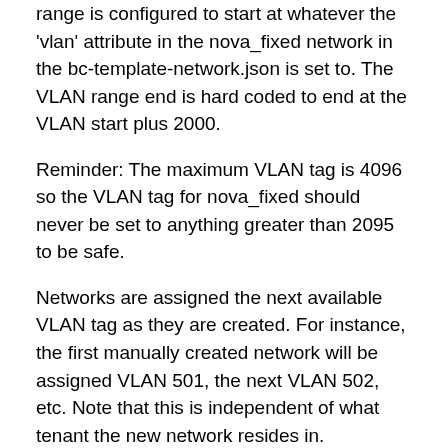range is configured to start at whatever the 'vlan' attribute in the nova_fixed network in the bc-template-network.json is set to.  The VLAN range end is hard coded to end at the VLAN start plus 2000.
Reminder: The maximum VLAN tag is 4096 so the VLAN tag for nova_fixed should never be set to anything greater than 2095 to be safe.
Networks are assigned the next available VLAN tag as they are created.  For instance, the first manually created network will be assigned VLAN 501, the next VLAN 502, etc.  Note that this is independent of what tenant the new network resides in.
The convention in Linux Bridge is to name the various network constructs including the first 11 characters of the UUID of the associated Neutron object.  This allows you to